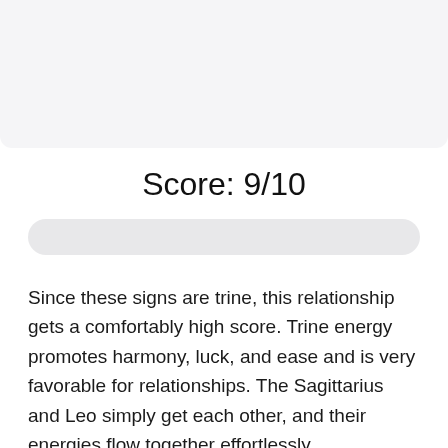[Figure (other): Gray rectangular image area at the top of the page]
Score: 9/10
[Figure (other): Gray rounded progress bar / pill shape]
Since these signs are trine, this relationship gets a comfortably high score. Trine energy promotes harmony, luck, and ease and is very favorable for relationships. The Sagittarius and Leo simply get each other, and their energies flow together effortlessly.